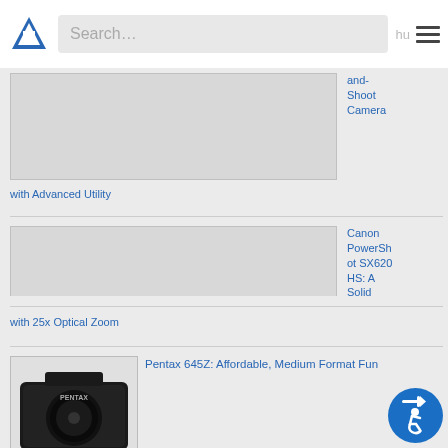[Figure (screenshot): Website navigation bar with a blue triangle/L logo, search box with 'Search...' placeholder, and hamburger menu icon]
[Figure (photo): Partial image placeholder for first camera article - top card (cropped at top of view)]
and-Shoot Camera
with Advanced Utility
[Figure (photo): Image placeholder for Canon PowerShot SX620 HS camera article]
Canon PowerShot SX620 HS: A Solid Point-and-Shoot Camera
with 25x Optical Zoom
[Figure (photo): Photo of Pentax 645Z medium format camera body in black]
Pentax 645Z: Affordable, Medium Format Fun
[Figure (illustration): Blue circular accessibility icon with arrow and wheelchair user symbol]